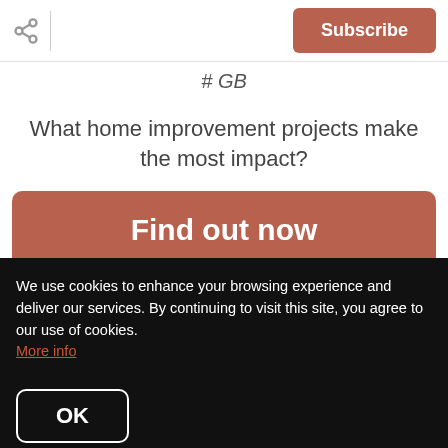Subscribe
# GB
What home improvement projects make the most impact?
[Figure (other): Find out now button — a large rounded rectangular button with terracotta/brown-red background and white bold text reading 'Find out now']
Tips from Benjamin Moore:
We use cookies to enhance your browsing experience and deliver our services. By continuing to visit this site, you agree to our use of cookies. More info
OK